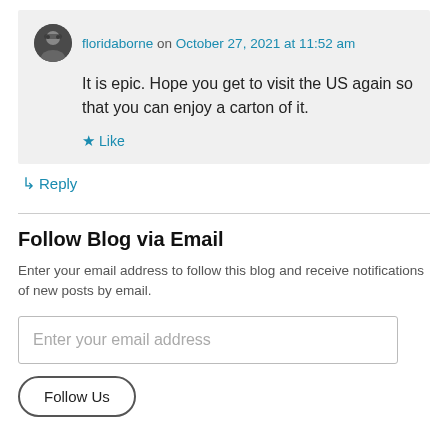floridaborne on October 27, 2021 at 11:52 am
It is epic. Hope you get to visit the US again so that you can enjoy a carton of it.
Like
Reply
Follow Blog via Email
Enter your email address to follow this blog and receive notifications of new posts by email.
Enter your email address
Follow Us